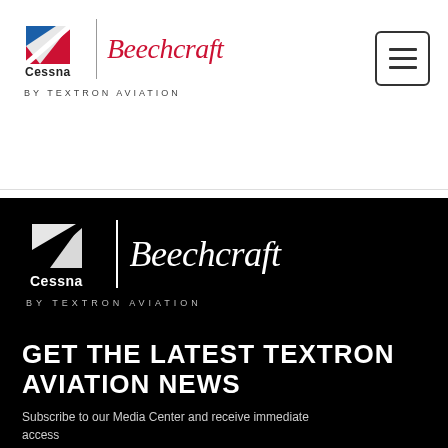[Figure (logo): Cessna | Beechcraft by Textron Aviation logo in header (color version on white background)]
[Figure (logo): Hamburger/menu button icon in top right of header]
[Figure (logo): Cessna | Beechcraft by Textron Aviation logo in footer (white version on black background)]
GET THE LATEST TEXTRON AVIATION NEWS
Subscribe to our Media Center and receive immediate